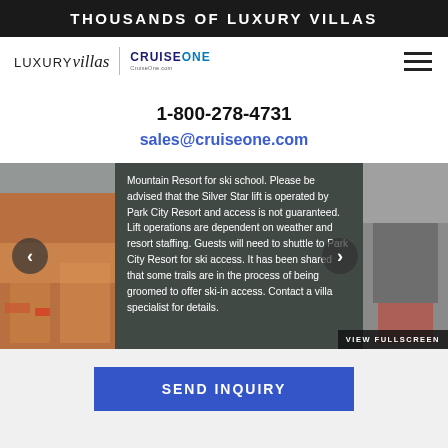THOUSANDS OF LUXURY VILLAS
[Figure (logo): LuxuryVillas | CruiseOne logo with hamburger menu icon]
1-800-278-4731
sales@cruiseone.com
[Figure (photo): Slideshow image panel showing resort photos with overlaid text: Mountain Resort for ski school. Please be advised that the Silver Star lift is operated by Park City Resort and access is not guaranteed. Lift operations are dependent on weather and resort staffing. Guests will need to shuttle to Park City Resort for ski access. It has been shared that some trails are in the process of being groomed to offer ski-in access. Contact a villa specialist for details. Navigation arrows and VIEW FULLSCREEN button visible.]
SEND INQUIRY